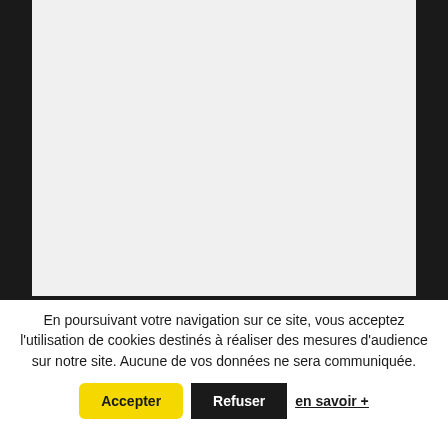[Figure (screenshot): A webpage screenshot showing a dark/black background with a large light gray content panel in the center, representing a partially loaded or blank web page.]
En poursuivant votre navigation sur ce site, vous acceptez l'utilisation de cookies destinés à réaliser des mesures d'audience sur notre site. Aucune de vos données ne sera communiquée.
Accepter
Refuser
en savoir +